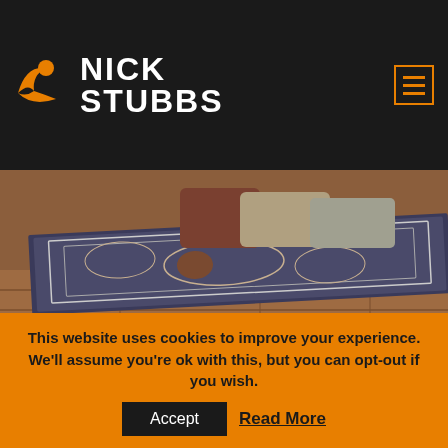[Figure (logo): Nick Stubbs logo — orange swoosh/person icon with white bold text NICK STUBBS on dark background]
[Figure (photo): Close-up photo of a decorative patterned rug/blanket with pillows on a wooden floor, partially showing a person underneath]
I recently did a commercial photography shoot on a local farm in Dorset for a company called "Simply Dorset". As well as breeding lambs on their farm, Simply Dorset also manufacture high quality, pure wool blankets from the Poll Sheep
This website uses cookies to improve your experience. We'll assume you're ok with this, but you can opt-out if you wish.
Accept   Read More